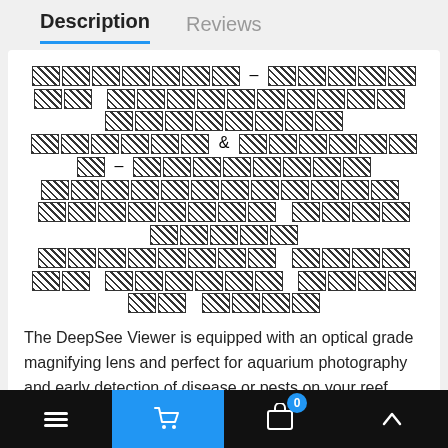Description | Reviews
[REDACTED PRODUCT TITLE - obfuscated with crosshatch pattern]
The DeepSee Viewer is equipped with an optical grade magnifying lens and perfect for aquarium photography and early detection of disease or pests on your reef coral or fish.
Features:
Strong rare earth magnets that hold the De[epSee Viewer]...
Nano "3 [dropdown selector]
Navigation bar with menu, cart (0 items), and scroll-up buttons